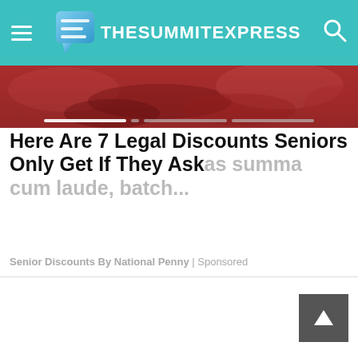TheSummitExpress
[Figure (photo): Reddish food/meat image used as article thumbnail strip]
Here Are 7 Legal Discounts Seniors Only Get If They Ask
Senior Discounts By National Penny | Sponsored